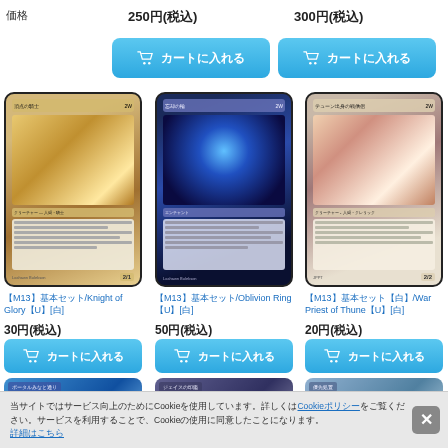価格
250円(税込)
300円(税込)
[Figure (screenshot): Add to cart button 1]
[Figure (screenshot): Add to cart button 2]
[Figure (screenshot): Magic: The Gathering card - Knight of Glory]
【M13】基本セット/Knight of Glory【U】[白]
30円(税込)
[Figure (screenshot): Add to cart button]
[Figure (screenshot): Magic: The Gathering card - Oblivion Ring]
【M13】基本セット/Oblivion Ring【U】[白]
50円(税込)
[Figure (screenshot): Add to cart button]
[Figure (screenshot): Magic: The Gathering card - War Priest of Thune]
【M13】基本セット【白】/War Priest of Thune【U】[白]
20円(税込)
[Figure (screenshot): Add to cart button]
[Figure (screenshot): Partial card images bottom row]
当サイトではサービス向上のためにCookieを使用しています。詳しくはCookieポリシーをご覧ください。